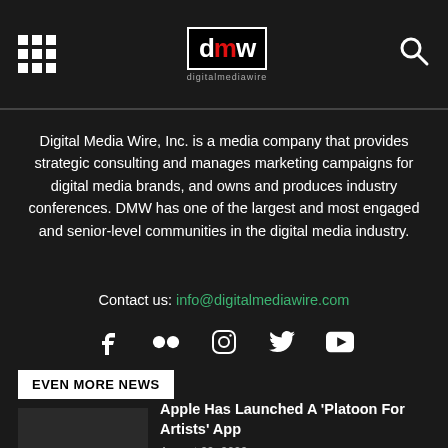Digital Media Wire (dmw) logo and navigation header
Digital Media Wire, Inc. is a media company that provides strategic consulting and manages marketing campaigns for digital media brands, and owns and produces industry conferences. DMW has one of the largest and most engaged and senior-level communities in the digital media industry.
Contact us: info@digitalmediawire.com
[Figure (infographic): Social media icons: Facebook, Flickr, Instagram, Twitter, YouTube]
EVEN MORE NEWS
Apple Has Launched A ‘Platoon For Artists’ App
August 29, 2022